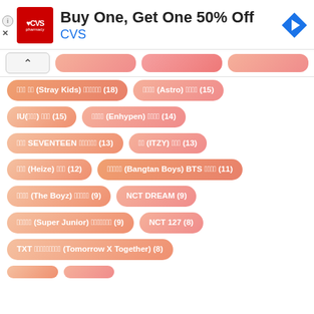[Figure (infographic): CVS Pharmacy advertisement banner: 'Buy One, Get One 50% Off' with CVS logo and navigation arrow icon]
스트레이 키즈 (Stray Kids) 스트레이키즈 (18)
아스트로 (Astro) 아스트로 (15)
IU(아이유) 아이유 (15)
엔하이픈 (Enhypen) 엔하이픈 (14)
세블 SEVENTEEN 세븐틴세블 (13)
있지 (ITZY) 있지 (13)
헤이즈 (Heize) 헤이즈 (12)
방탄소년단 (Bangtan Boys) BTS 방탄소 (11)
더보이즈 (The Boyz) 더보이즈 (9)
NCT DREAM (9)
슈퍼주니어 (Super Junior) 슈퍼주니어 (9)
NCT 127 (8)
TXT 투모로우바이투게더 (Tomorrow X Together) (8)